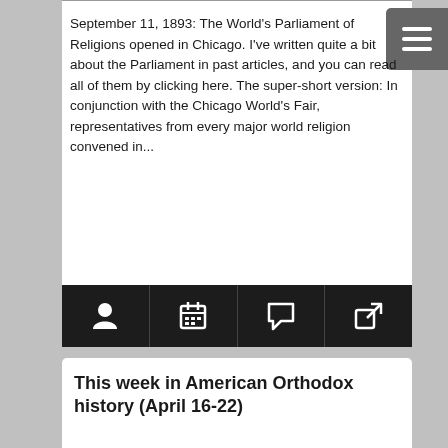September 11, 1893: The World's Parliament of Religions opened in Chicago. I've written quite a bit about the Parliament in past articles, and you can read all of them by clicking here. The super-short version: In conjunction with the Chicago World's Fair, representatives from every major world religion convened in...
[Figure (infographic): Navigation icon bar with four icons: person/author icon, calendar icon, speech bubble/comment icon, and external link icon, on dark background]
This week in American Orthodox history (April 16-22)
Christ is risen! Indeed he is risen! April 17, 1907: Fr. Demetrios Petrides arrived in America from Greece. He went immediately to Philadelphia, taking charge of